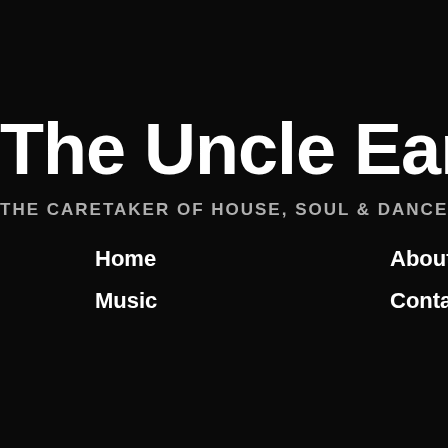The Uncle Earl
THE CARETAKER OF HOUSE, SOUL & DANCE MU...
Home
About
Events
Vid...
Music
Contact
President Barac...
Tonight marks the end o... this office, I pledged to e... am doing. Since I beca... 100,000 U.S. troops. W... Operation Iraqi Freedor... reliant Iraq continues. U... troops will remain to adv... ground, and pursue targ... consistent with our agre...